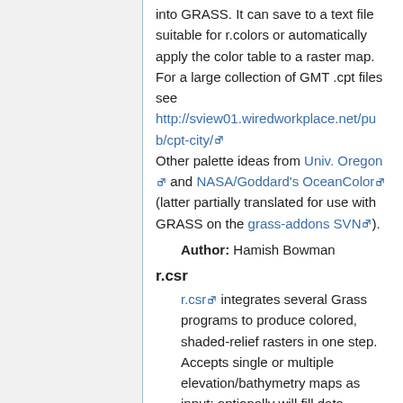into GRASS. It can save to a text file suitable for r.colors or automatically apply the color table to a raster map. For a large collection of GMT .cpt files see http://sview01.wiredworkplace.net/pub/cpt-city/ Other palette ideas from Univ. Oregon and NASA/Goddard's OceanColor (latter partially translated for use with GRASS on the grass-addons SVN).
Author: Hamish Bowman
r.csr
r.csr integrates several Grass programs to produce colored, shaded-relief rasters in one step. Accepts single or multiple elevation/bathymetry maps as input; optionally will fill data holidays with